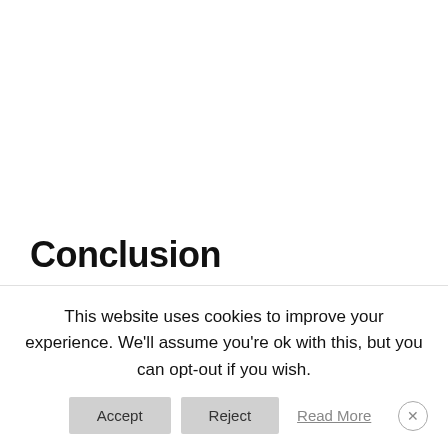Conclusion
This website uses cookies to improve your experience. We'll assume you're ok with this, but you can opt-out if you wish.